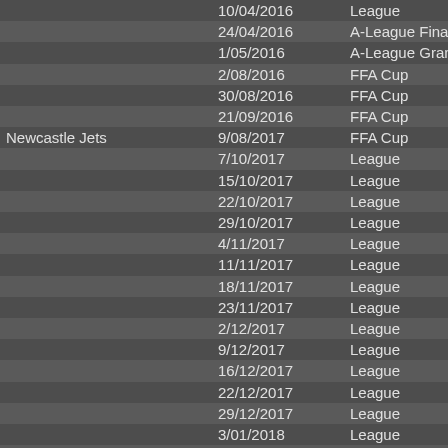| Team | Date | Competition |
| --- | --- | --- |
|  | 10/04/2016 | League |
|  | 24/04/2016 | A-League Finals |
|  | 1/05/2016 | A-League Grand |
|  | 2/08/2016 | FFA Cup |
|  | 30/08/2016 | FFA Cup |
|  | 21/09/2016 | FFA Cup |
| Newcastle Jets | 9/08/2017 | FFA Cup |
|  | 7/10/2017 | League |
|  | 15/10/2017 | League |
|  | 22/10/2017 | League |
|  | 29/10/2017 | League |
|  | 4/11/2017 | League |
|  | 11/11/2017 | League |
|  | 18/11/2017 | League |
|  | 23/11/2017 | League |
|  | 2/12/2017 | League |
|  | 9/12/2017 | League |
|  | 16/12/2017 | League |
|  | 22/12/2017 | League |
|  | 29/12/2017 | League |
|  | 3/01/2018 | League |
|  | 9/01/2018 | League |
|  | 12/01/2018 | League |
|  | 20/01/2018 | League |